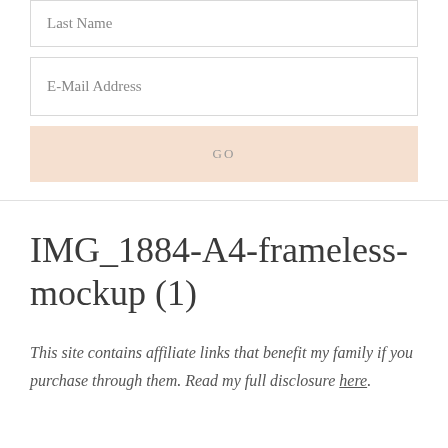Last Name
E-Mail Address
GO
IMG_1884-A4-frameless-mockup (1)
This site contains affiliate links that benefit my family if you purchase through them. Read my full disclosure here.